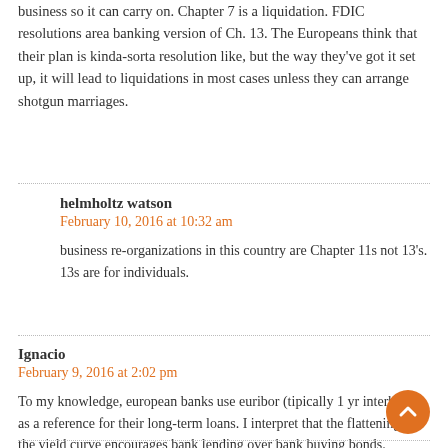business so it can carry on. Chapter 7 is a liquidation. FDIC resolutions area banking version of Ch. 13. The Europeans think that their plan is kinda-sorta resolution like, but the way they've got it set up, it will lead to liquidations in most cases unless they can arrange shotgun marriages.
helmholtz watson
February 10, 2016 at 10:32 am
business re-organizations in this country are Chapter 11s not 13's. 13s are for individuals.
Ignacio
February 9, 2016 at 2:02 pm
To my knowledge, european banks use euribor (tipically 1 yr interbank) as a reference for their long-term loans. I interpret that the flattening of the yield curve encourages bank lending over bank buying bonds.
Am I wildly wrong on this?